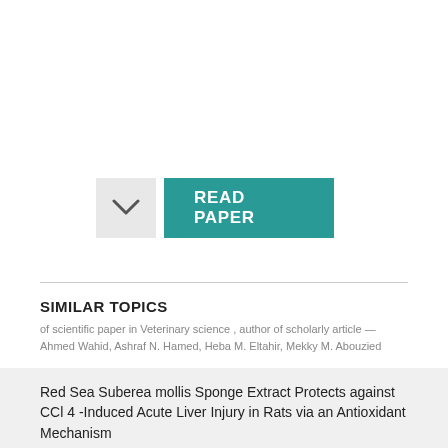[Figure (other): Button group with a chevron/dropdown button (light gray) and a teal READ PAPER button]
SIMILAR TOPICS
of scientific paper in Veterinary science , author of scholarly article — Ahmed Wahid, Ashraf N. Hamed, Heba M. Eltahir, Mekky M. Abouzied
Red Sea Suberea mollis Sponge Extract Protects against CCl 4 -Induced Acute Liver Injury in Rats via an Antioxidant Mechanism